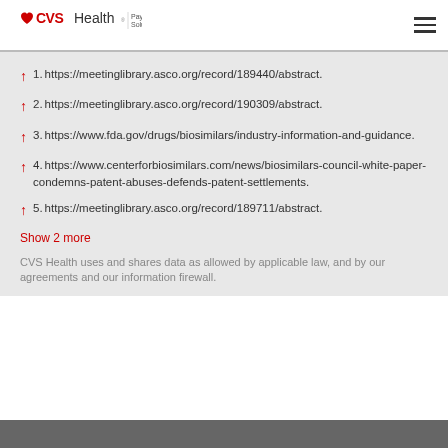CVS Health Payor Solutions
1. https://meetinglibrary.asco.org/record/189440/abstract.
2. https://meetinglibrary.asco.org/record/190309/abstract.
3. https://www.fda.gov/drugs/biosimilars/industry-information-and-guidance.
4. https://www.centerforbiosimilars.com/news/biosimilars-council-white-paper-condemns-patent-abuses-defends-patent-settlements.
5. https://meetinglibrary.asco.org/record/189711/abstract.
Show 2 more
CVS Health uses and shares data as allowed by applicable law, and by our agreements and our information firewall.